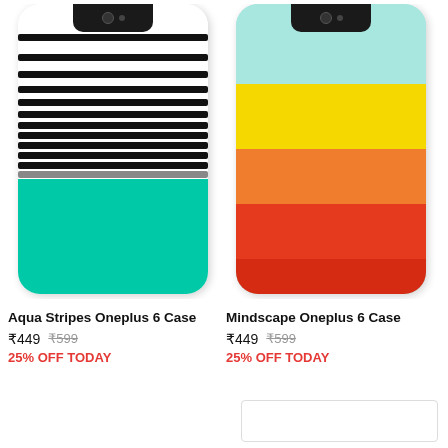[Figure (photo): Phone case product photo: Aqua Stripes Oneplus 6 Case — white phone case with black horizontal stripes on top half and solid teal/aqua color on bottom half]
Aqua Stripes Oneplus 6 Case
₹449  ₹599
25% OFF TODAY
[Figure (photo): Phone case product photo: Mindscape Oneplus 6 Case — phone case with horizontal color bands: light teal, yellow, orange, red-orange, red from top to bottom]
Mindscape Oneplus 6 Case
₹449  ₹599
25% OFF TODAY